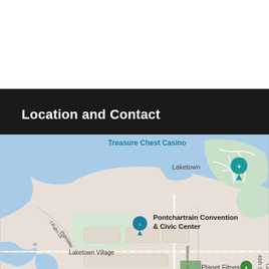Location and Contact
[Figure (map): Google Maps view showing Pontchartrain Convention & Civic Center, Treasure Chest Casino, Laketown, Planet Fitness, Laketown Village, Joe Yenni Blvd, Williams Blvd, Palm Dr, Palmetto, 45th St area in Louisiana.]